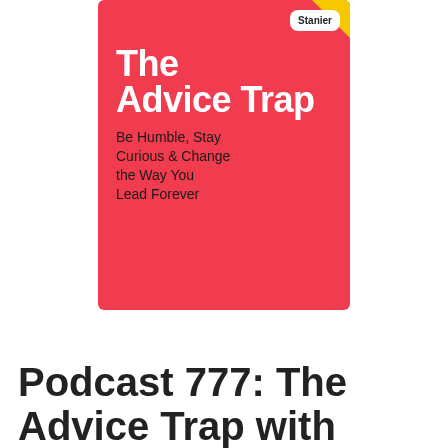[Figure (illustration): Book cover for 'The Advice Trap' by Michael Bungay Stanier. Red/coral background with white bold title text 'The Advice Trap', black subtitle text 'Be Humble, Stay Curious & Change the Way You Lead Forever', white author badge in top-right corner showing 'Stanier', yellow corner accent.]
Podcast 777: The Advice Trap with